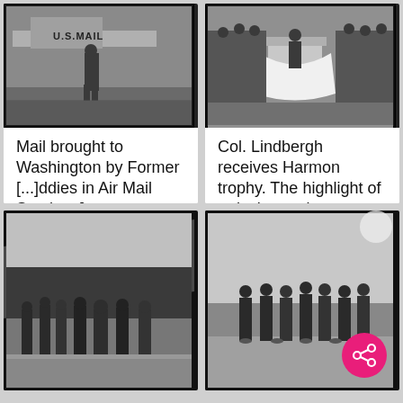[Figure (photo): Black and white photograph of a person standing next to a U.S. Mail aircraft on the ground]
Mail brought to Washington by Former [...]ddies in Air Mail Service. [...
[Figure (photo): Black and white photograph of a group of men and Col. Lindbergh receiving the Harmon trophy]
Col. Lindbergh receives Harmon trophy. The highlight of today's sessio...
[Figure (photo): Black and white photograph of a group of people standing beside a train car]
[Figure (photo): Black and white photograph of a group of men standing outdoors on open ground]